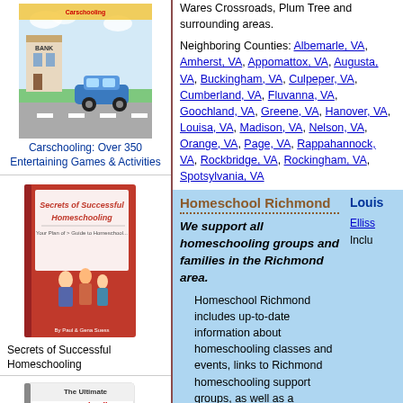[Figure (illustration): Book cover for Carschooling: Over 350 Entertaining Games & Activities, showing cartoon family in car passing a bank]
Carschooling: Over 350 Entertaining Games & Activities
[Figure (illustration): Book cover for Secrets of Successful Homeschooling showing family figures]
Secrets of Successful Homeschooling
[Figure (illustration): Book cover for The Ultimate Home Schooling Mom's Planner]
Wares Crossroads, Plum Tree and surrounding areas.
Neighboring Counties: Albemarle, VA, Amherst, VA, Appomattox, VA, Augusta, VA, Buckingham, VA, Culpeper, VA, Cumberland, VA, Fluvanna, VA, Goochland, VA, Greene, VA, Hanover, VA, Louisa, VA, Madison, VA, Nelson, VA, Orange, VA, Page, VA, Rappahannock, VA, Rockbridge, VA, Rockingham, VA, Spotsylvania, VA
Homeschool Richmond
We support all homeschooling groups and families in the Richmond area.
Homeschool Richmond includes up-to-date information about homeschooling classes and events, links to Richmond homeschooling support groups, as well as a calender of fun things to
Louis
Elliss
Inclu